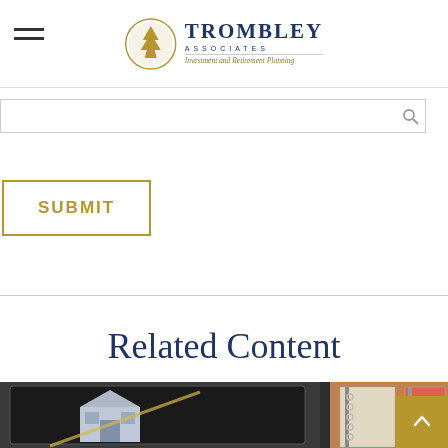Trombley Associates — Investment and Retirement Planning
SUBMIT
Related Content
[Figure (photo): Tablet displaying a house model with measuring tape and notebooks in the background]